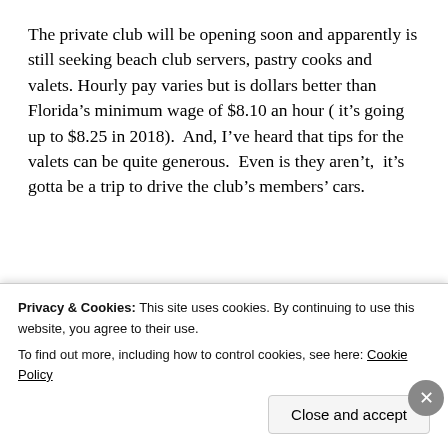The private club will be opening soon and apparently is still seeking beach club servers, pastry cooks and valets. Hourly pay varies but is dollars better than Florida's minimum wage of $8.10 an hour ( it's going up to $8.25 in 2018).  And, I've heard that tips for the valets can be quite generous.  Even is they aren't,  it's gotta be a trip to drive the club's members' cars.
[Figure (other): P2 advertisement banner: icon with letter P and label P2, bold text 'Getting your team on the same page is easy. And free.']
That said,  anyone who would like to work in the Winter
Privacy & Cookies: This site uses cookies. By continuing to use this website, you agree to their use.
To find out more, including how to control cookies, see here: Cookie Policy
Close and accept